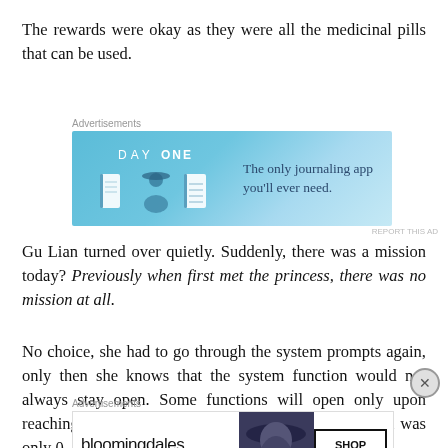The rewards were okay as they were all the medicinal pills that can be used.
[Figure (other): Day One journaling app advertisement banner with blue gradient background, app icons, and text: 'The only journaling app you'll ever need.']
Gu Lian turned over quietly. Suddenly, there was a mission today? Previously when first met the princess, there was no mission at all.
No choice, she had to go through the system prompts again, only then she knows that the system function would not always stay open. Some functions will open only upon reaching a certain level. After transmigrating, her level was only 0. After a couple of months of daily
[Figure (other): Bloomingdale's advertisement: 'View Today's Top Deals!' with SHOP NOW button and woman wearing wide-brim hat.]